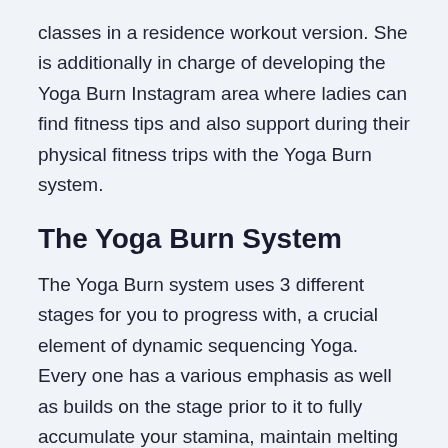classes in a residence workout version. She is additionally in charge of developing the Yoga Burn Instagram area where ladies can find fitness tips and also support during their physical fitness trips with the Yoga Burn system.
The Yoga Burn System
The Yoga Burn system uses 3 different stages for you to progress with, a crucial element of dynamic sequencing Yoga. Every one has a various emphasis as well as builds on the stage prior to it to fully accumulate your stamina, maintain melting calories, and also urge proficiency of the training course material. You can proceed from one phase to the next as soon as you really feel comfy as well